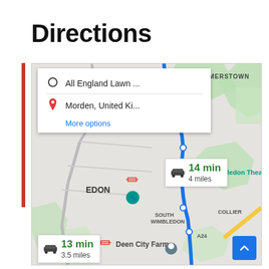Directions
[Figure (map): Google Maps screenshot showing directions from All England Lawn... to Morden, United Ki... with two route options: 14 min / 4 miles (blue highlighted route) and 13 min / 3.5 miles (alternative). Map shows area around Wimbledon, Edon, South Wimbledon, Summerstown, New Wimbledon Theatre, Deen City Farm, A24, Collier labels.]
More options